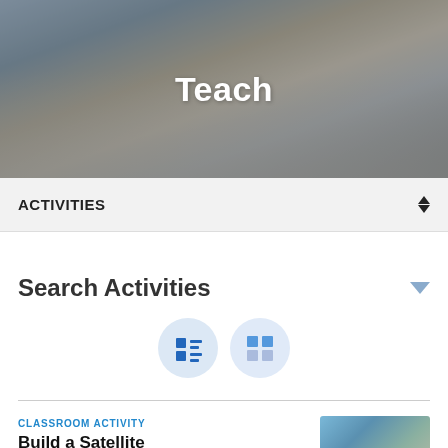[Figure (photo): Hero photo showing hands working on papers at a desk, with a dark overlay and the word 'Teach' centered in white bold text]
Teach
ACTIVITIES
Search Activities
[Figure (infographic): Two circular toggle buttons side by side: a list-view icon (dark blue squares with lines) and a grid-view icon (four blue squares in a 2x2 grid), both on light blue circular backgrounds]
CLASSROOM ACTIVITY
Build a Satellite
Students will use the engineering design process to design, build, test
[Figure (photo): Aerial or satellite photo of a landscape with water and terrain features]